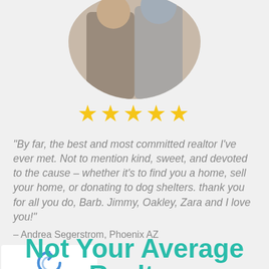[Figure (photo): Circular cropped photo of two people outdoors]
[Figure (other): Five gold star rating]
“By far, the best and most committed realtor I’ve ever met. Not to mention kind, sweet, and devoted to the cause – whether it’s to find you a home, sell your home, or donating to dog shelters. thank you for all you do, Barb. Jimmy, Oakley, Zara and I love you!”
– Andrea Segerstrom, Phoenix AZ
[Figure (other): reCAPTCHA widget with Privacy and Terms links]
Not Your Average Realtor